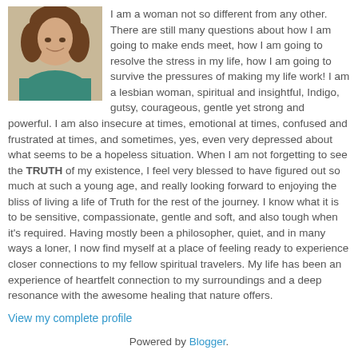[Figure (photo): Small portrait photo of a woman with curly brown hair wearing a teal/green top]
I am a woman not so different from any other. There are still many questions about how I am going to make ends meet, how I am going to resolve the stress in my life, how I am going to survive the pressures of making my life work! I am a lesbian woman, spiritual and insightful, Indigo, gutsy, courageous, gentle yet strong and powerful. I am also insecure at times, emotional at times, confused and frustrated at times, and sometimes, yes, even very depressed about what seems to be a hopeless situation. When I am not forgetting to see the TRUTH of my existence, I feel very blessed to have figured out so much at such a young age, and really looking forward to enjoying the bliss of living a life of Truth for the rest of the journey. I know what it is to be sensitive, compassionate, gentle and soft, and also tough when it's required. Having mostly been a philosopher, quiet, and in many ways a loner, I now find myself at a place of feeling ready to experience closer connections to my fellow spiritual travelers. My life has been an experience of heartfelt connection to my surroundings and a deep resonance with the awesome healing that nature offers.
View my complete profile
Powered by Blogger.